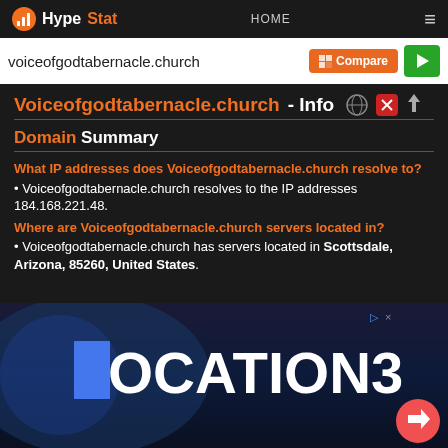HypeStat HOME ≡
voiceofgodtabernacle.church Compare ▶
Voiceofgodtabernacle.church - Info
Domain Summary
What IP addresses does Voiceofgodtabernacle.church resolve to?
• Voiceofgodtabernacle.church resolves to the IP addresses 184.168.221.48.
Where are Voiceofgodtabernacle.church servers located in?
• Voiceofgodtabernacle.church has servers located in Scottsdale, Arizona, 85260, United States.
[Figure (screenshot): Advertisement banner showing 'LOCATION3' text on dark blue background with a share/reply FAB button in bottom right corner]